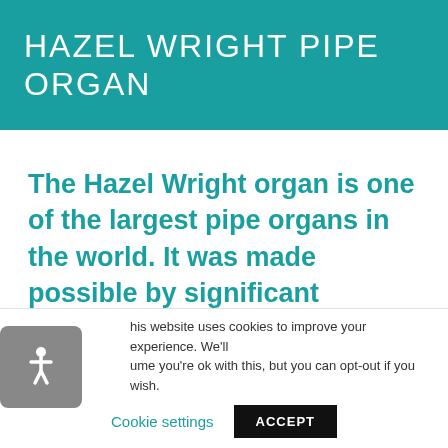HAZEL WRIGHT PIPE ORGAN
The Hazel Wright organ is one of the largest pipe organs in the world. It was made possible by significant donations from Mrs.
This website uses cookies to improve your experience. We'll assume you're ok with this, but you can opt-out if you wish.
Cookie settings   ACCEPT